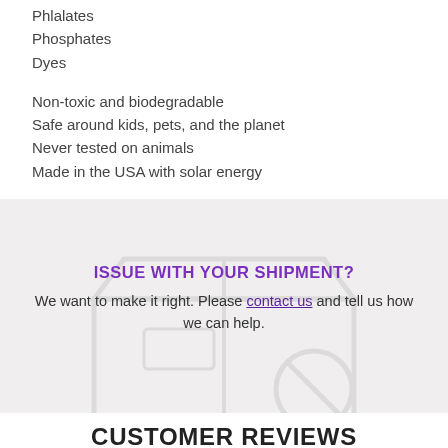Phlalates
Phosphates
Dyes
Non-toxic and biodegradable
Safe around kids, pets, and the planet
Never tested on animals
Made in the USA with solar energy
ISSUE WITH YOUR SHIPMENT?
We want to make it right. Please contact us and tell us how we can help.
CUSTOMER REVIEWS